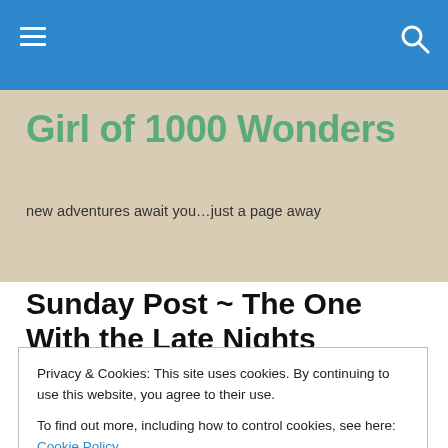Girl of 1000 Wonders — navigation bar
Girl of 1000 Wonders
new adventures await you…just a page away
Sunday Post ~ The One With the Late Nights
[Figure (photo): Partial view of a Sunday Post book cover with yellow background and red/orange text]
Privacy & Cookies: This site uses cookies. By continuing to use this website, you agree to their use.
To find out more, including how to control cookies, see here: Cookie Policy
Close and accept